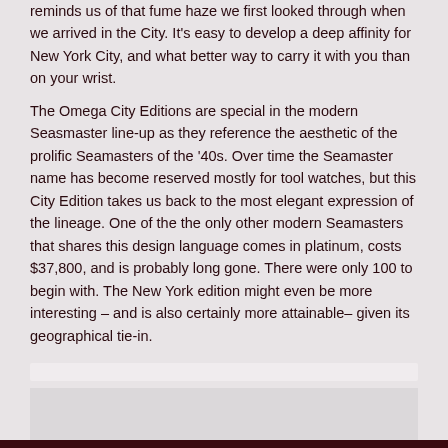reminds us of that fume haze we first looked through when we arrived in the City. It's easy to develop a deep affinity for New York City, and what better way to carry it with you than on your wrist.
The Omega City Editions are special in the modern Seasmaster line-up as they reference the aesthetic of the prolific Seamasters of the '40s. Over time the Seamaster name has become reserved mostly for tool watches, but this City Edition takes us back to the most elegant expression of the lineage. One of the the only other modern Seamasters that shares this design language comes in platinum, costs $37,800, and is probably long gone. There were only 100 to begin with. The New York edition might even be more interesting – and is also certainly more attainable– given its geographical tie-in.